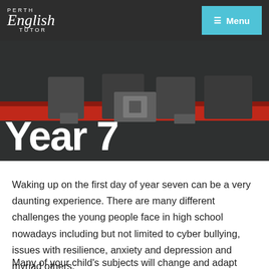Perth English Tutor — Menu
[Figure (photo): Hero image showing school lockers or equipment with red and dark background, overlaid with large white text 'Year 7']
Waking up on the first day of year seven can be a very daunting experience. There are many different challenges the young people face in high school nowadays including but not limited to cyber bullying, issues with resilience, anxiety and depression and myriad others.
Many of your child's subjects will change and adapt